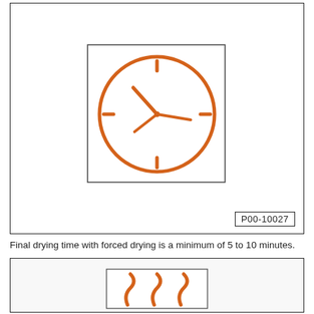[Figure (illustration): Orange clock icon showing time, inside a bordered square box. Clock face with circle outline, hour and minute hands pointing roughly to 10:10, tick marks at 12, 3, 6, 9 positions. Part number P00-10027 in bottom right corner of outer box.]
Final drying time with forced drying is a minimum of 5 to 10 minutes.
[Figure (illustration): Orange heat wave / forced drying icon showing three curved lines resembling heat waves or air movement, inside a bordered square box, within a larger bordered outer box.]